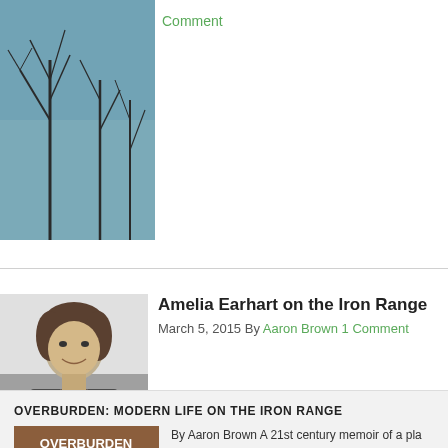[Figure (photo): Bare winter trees against a blue-grey sky, partially cropped]
Comment
[Figure (photo): Black and white photograph of Amelia Earhart in aviator jacket, smiling]
Amelia Earhart on the Iron Range
March 5, 2015 By Aaron Brown 1 Comment
OVERBURDEN: MODERN LIFE ON THE IRON RANGE
[Figure (photo): Book cover of Overburden: Modern Life on the Iron Range by Aaron Brown, orange/brown cover with white text]
By Aaron Brown A 21st century memoir of a pla towns along an iron formation in northern Minn